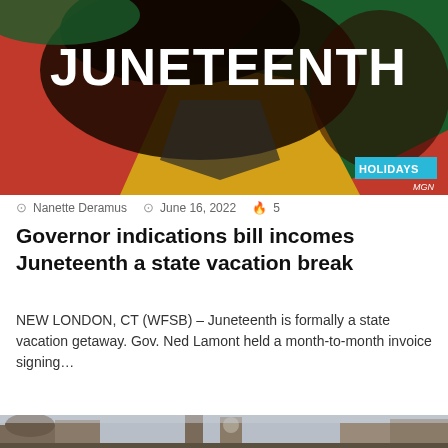[Figure (photo): Juneteenth themed graphic with bold white text 'JUNETEENTH' over African-heritage colors red, black, green, and gold geometric shapes. HOLIDAYS badge in cyan, MGN credit.]
Nanette Deramus   June 16, 2022   5
Governor indications bill incomes Juneteenth a state vacation break
NEW LONDON, CT (WFSB) – Juneteenth is formally a state vacation getaway. Gov. Ned Lamont held a month-to-month invoice signing…
Read More »
[Figure (photo): Partial bottom photo showing European-style buildings with decorative towers against a grey sky.]